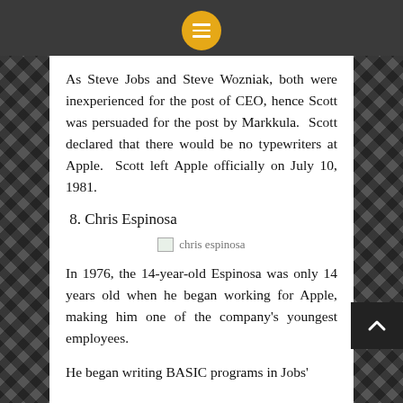Menu button (hamburger icon, orange circle)
As Steve Jobs and Steve Wozniak, both were inexperienced for the post of CEO, hence Scott was persuaded for the post by Markkula.  Scott declared that there would be no typewriters at Apple.  Scott left Apple officially on July 10, 1981.
8. Chris Espinosa
[Figure (photo): Placeholder image labeled 'chris espinosa']
In 1976, the 14-year-old Espinosa was only 14 years old when he began working for Apple, making him one of the company's youngest employees.
He began writing BASIC programs in Jobs'